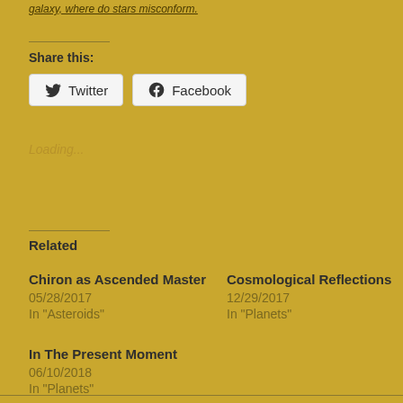galaxy, where do stars misconform.
Share this:
Twitter
Facebook
Loading...
Related
Chiron as Ascended Master
05/28/2017
In "Asteroids"
Cosmological Reflections
12/29/2017
In "Planets"
In The Present Moment
06/10/2018
In "Planets"